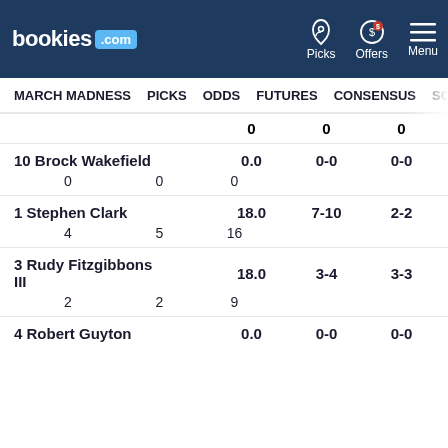bookies.com | Picks | Offers | Menu
MARCH MADNESS | PICKS | ODDS | FUTURES | CONSENSUS | SC
| Player | Pts | FG | Reb | Ast |
| --- | --- | --- | --- | --- |
|  | 0 | 0 | 0 |  |  |
| 10 Brock Wakefield | 0.0 | 0-0 | 0-0 | 0-0 |
|  | 0 | 0 | 0 |  |  |
| 1 Stephen Clark | 18.0 | 7-10 | 2-2 | 0-0 |
|  | 4 | 5 | 16 |  |  |
| 3 Rudy Fitzgibbons III | 18.0 | 3-4 | 3-3 | 0-0 |
|  | 2 | 2 | 9 |  |  |
| 4 Robert Guyton | 0.0 | 0-0 | 0-0 | 0-0 |